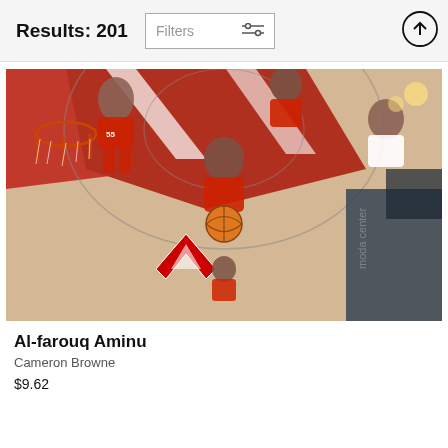Results: 201
[Figure (photo): Overhead aerial view of Portland Trail Blazers basketball players on court during a game, showing players in red uniforms, a basketball, and the Moda Center court floor with the Blazers logo visible]
Al-farouq Aminu
Cameron Browne
$9.62